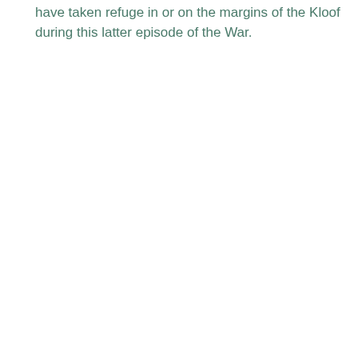have taken refuge in or on the margins of the Kloof during this latter episode of the War.